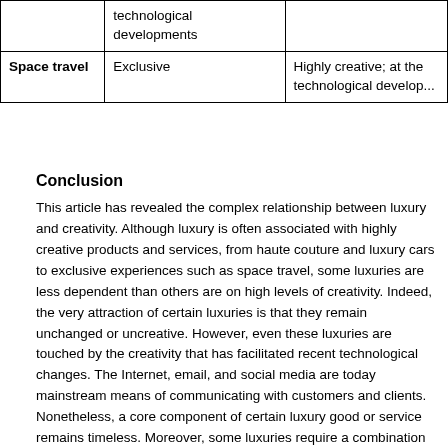|  |  |  |
| --- | --- | --- |
|  | technological developments |  |
| Space travel | Exclusive | Highly creative; at the technological develop... |
Conclusion
This article has revealed the complex relationship between luxury and creativity. Although luxury is often associated with highly creative products and services, from haute couture and luxury cars to exclusive experiences such as space travel, some luxuries are less dependent than others are on high levels of creativity. Indeed, the very attraction of certain luxuries is that they remain unchanged or uncreative. However, even these luxuries are touched by the creativity that has facilitated recent technological changes. The Internet, email, and social media are today mainstream means of communicating with customers and clients. Nonetheless, a core component of certain luxury good or service remains timeless. Moreover, some luxuries require a combination of levels of creativity. So, for instance, luxury hotels may go to great lengths to preserve the traditional forms of customer–client service interaction (frontage) just behind the scenes (backstage) they may employ